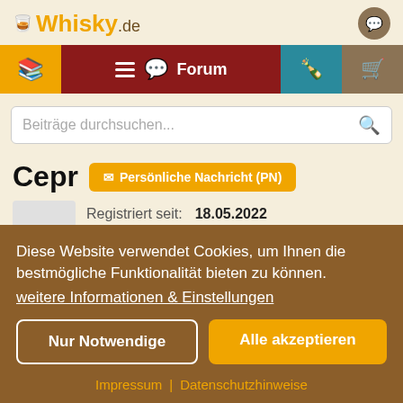Whisky.de
[Figure (screenshot): Navigation bar with orange book icon, hamburger menu, forum with chat bubble icon, teal bottle icon section, and brown cart icon]
Beiträge durchsuchen...
Cepr
Persönliche Nachricht (PN)
Registriert seit: 18.05.2022
Diese Website verwendet Cookies, um Ihnen die bestmögliche Funktionalität bieten zu können. weitere Informationen & Einstellungen
Nur Notwendige
Alle akzeptieren
Impressum | Datenschutzhinweise